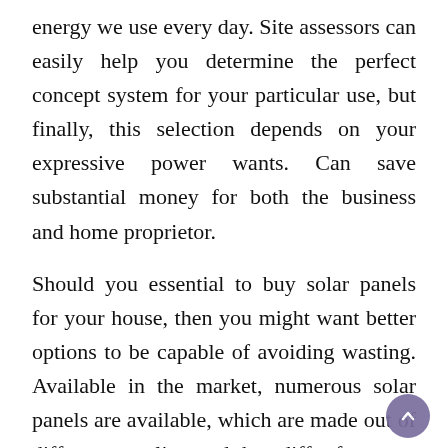energy we use every day. Site assessors can easily help you determine the perfect concept system for your particular use, but finally, this selection depends on your expressive power wants. Can save substantial money for both the business and home proprietor.
Should you essential to buy solar panels for your house, then you might want better options to be capable of avoiding wasting. Available in the market, numerous solar panels are available, which are made out of different supplies, and they differ from one another when it comes to their effectiveness to generate usable power. You can